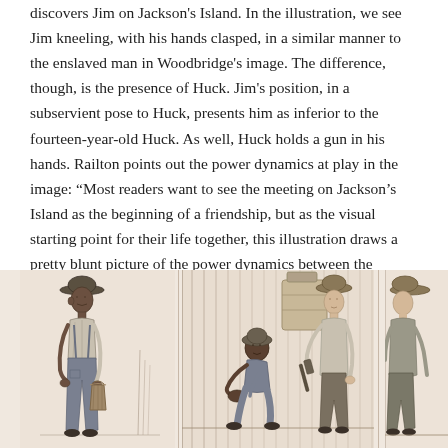discovers Jim on Jackson's Island. In the illustration, we see Jim kneeling, with his hands clasped, in a similar manner to the enslaved man in Woodbridge's image. The difference, though, is the presence of Huck. Jim's position, in a subservient pose to Huck, presents him as inferior to the fourteen-year-old Huck. As well, Huck holds a gun in his hands. Railton points out the power dynamics at play in the image: “Most readers want to see the meeting on Jackson’s Island as the beginning of a friendship, but as the visual starting point for their life together, this illustration draws a pretty blunt picture of the power dynamics between the races.”
[Figure (illustration): Three vintage black-and-white illustrations side by side on a warm beige background. Left panel: a Black man standing wearing a hat and overalls, holding a bucket. Center panel: a crouching figure (Jim) kneeling with hands clasped before a boy (Huck) who stands holding a gun, set against a wooden structure. Right panel: partially visible figure of a boy in a hat standing.]